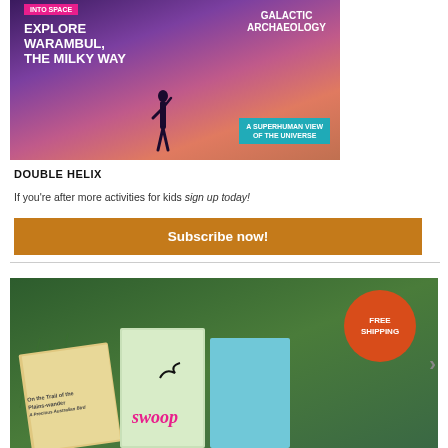[Figure (illustration): Promotional banner for 'Into Space' with text overlays: 'EXPLORE WARAMBUL, THE MILKY WAY', 'GALACTIC ARCHAEOLOGY', 'A SUPERHUMAN VIEW OF THE UNIVERSE' on a purple/pink cosmic background with a silhouetted figure]
DOUBLE HELIX
If you're after more activities for kids sign up today!
Subscribe now!
[Figure (illustration): Book advertisement banner showing books 'On the Trail of the Plains-wander', 'swoop', and another title on a green background with a 'FREE SHIPPING' orange circle badge]